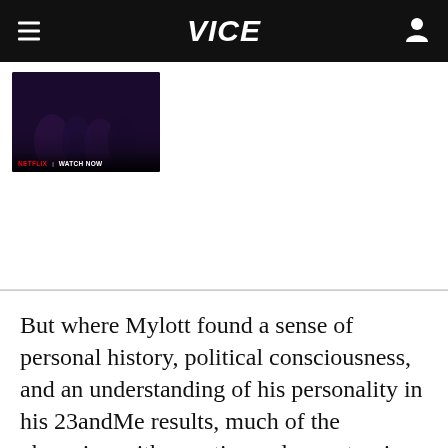VICE
[Figure (screenshot): Netflix promotional thumbnail showing dark scene with people, with 'NETFLIX | WATCH NOW' text overlay at the bottom]
But where Mylott found a sense of personal history, political consciousness, and an understanding of his personality in his 23andMe results, much of the obsession with genetics and ancestry, in the end, comes down to sex.